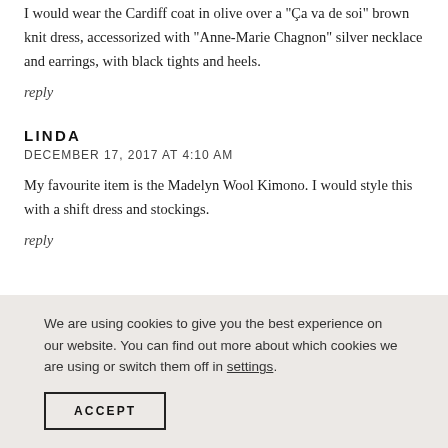I would wear the Cardiff coat in olive over a "Ça va de soi" brown knit dress, accessorized with "Anne-Marie Chagnon" silver necklace and earrings, with black tights and heels.
reply
LINDA
DECEMBER 17, 2017 AT 4:10 AM
My favourite item is the Madelyn Wool Kimono. I would style this with a shift dress and stockings.
reply
We are using cookies to give you the best experience on our website. You can find out more about which cookies we are using or switch them off in settings.
ACCEPT